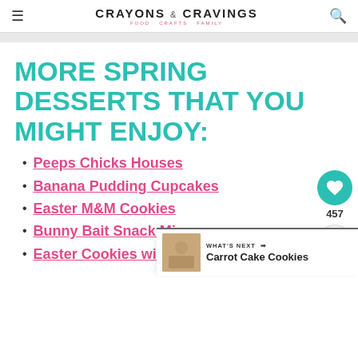CRAYONS & CRAVINGS — FOOD CRAFTS FAMILY
MORE SPRING DESSERTS THAT YOU MIGHT ENJOY:
Peeps Chicks Houses
Banana Pudding Cupcakes
Easter M&M Cookies
Bunny Bait Snack Mix
Easter Cookies with Hershey Kisses